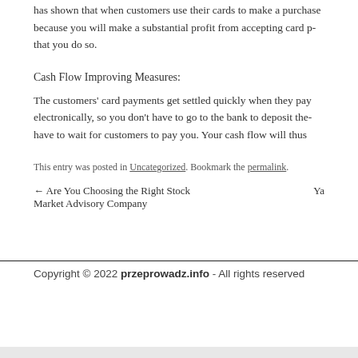has shown that when customers use their cards to make a purchase because you will make a substantial profit from accepting card payments that you do so.
Cash Flow Improving Measures:
The customers' card payments get settled quickly when they pay electronically, so you don't have to go to the bank to deposit the have to wait for customers to pay you. Your cash flow will thus
This entry was posted in Uncategorized. Bookmark the permalink.
← Are You Choosing the Right Stock Market Advisory Company   Ya
Copyright © 2022 przeprowadz.info - All rights reserved